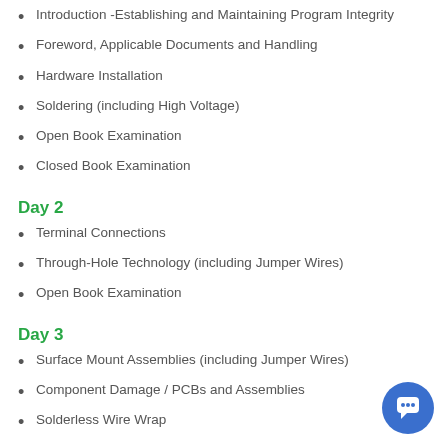Introduction -Establishing and Maintaining Program Integrity
Foreword, Applicable Documents and Handling
Hardware Installation
Soldering (including High Voltage)
Open Book Examination
Closed Book Examination
Day 2
Terminal Connections
Through-Hole Technology (including Jumper Wires)
Open Book Examination
Day 3
Surface Mount Assemblies (including Jumper Wires)
Component Damage / PCBs and Assemblies
Solderless Wire Wrap